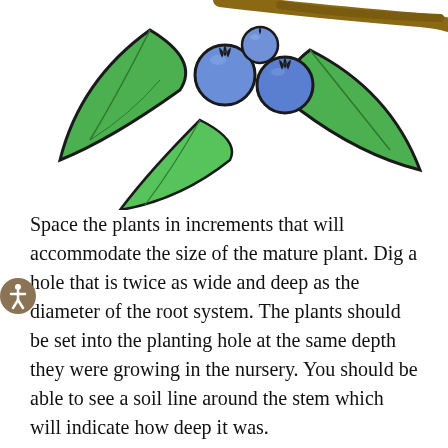[Figure (illustration): Illustration of blueberries with green leaves on a branch, partially cropped at top of page]
Space the plants in increments that will accommodate the size of the mature plant. Dig a hole that is twice as wide and deep as the diameter of the root system. The plants should be set into the planting hole at the same depth they were growing in the nursery. You should be able to see a soil line around the stem which will indicate how deep it was.
Spread the roots and position each plant so that all the roots will be covered with soil. Be careful not to plant too deep, and do not let the roots dry out during the planting process.